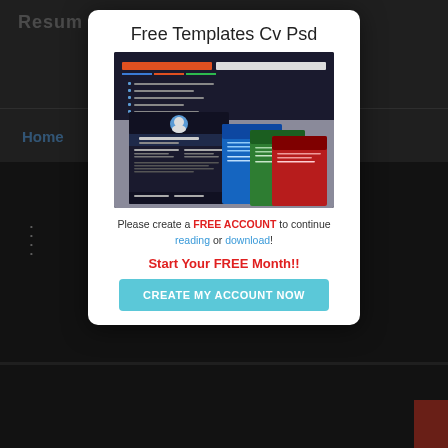Free Templates Cv Psd
[Figure (screenshot): Preview image of FREE Resume Template PSD (4 Color) showing multiple resume template designs in dark navy, blue, green, and red color schemes]
Please create a FREE ACCOUNT to continue reading or download!
Start Your FREE Month!!
CREATE MY ACCOUNT NOW